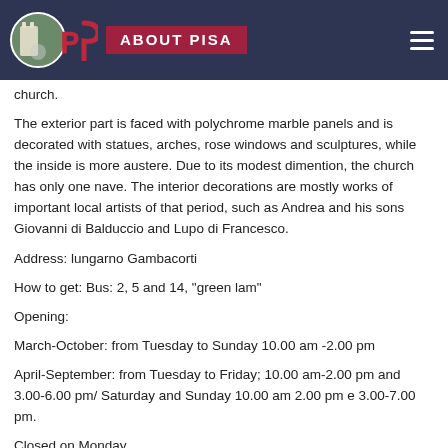ABOUT PISA
church.
The exterior part is faced with polychrome marble panels and is decorated with statues, arches, rose windows and sculptures, while the inside is more austere. Due to its modest dimention, the church has only one nave. The interior decorations are mostly works of important local artists of that period, such as Andrea and his sons Giovanni di Balduccio and Lupo di Francesco.
Address: lungarno Gambacorti
How to get: Bus: 2, 5 and 14, "green lam"
Opening:
March-October: from Tuesday to Sunday 10.00 am -2.00 pm
April-September: from Tuesday to Friday; 10.00 am-2.00 pm and 3.00-6.00 pm/ Saturday and Sunday 10.00 am 2.00 pm e 3.00-7.00 pm.
Closed on Monday.